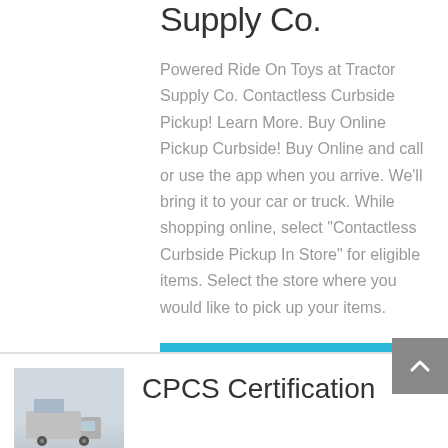Supply Co.
Powered Ride On Toys at Tractor Supply Co. Contactless Curbside Pickup! Learn More. Buy Online Pickup Curbside! Buy Online and call or use the app when you arrive. We'll bring it to your car or truck. While shopping online, select "Contactless Curbside Pickup In Store" for eligible items. Select the store where you would like to pick up your items.
learn More
[Figure (photo): Photo of a truck or vehicle, partial view at bottom of page]
CPCS Certification